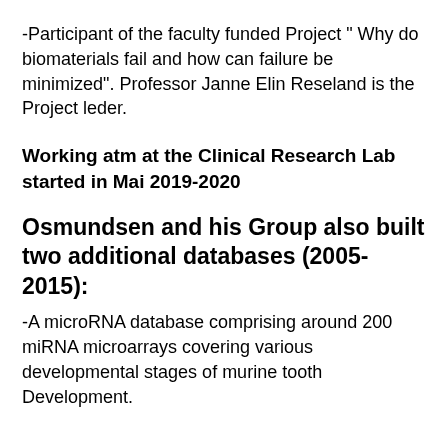-Participant of the faculty funded Project " Why do biomaterials fail and how can failure be minimized". Professor Janne Elin Reseland is the Project leder.
Working atm at the Clinical Research Lab started in Mai 2019-2020
Osmundsen and his Group also built two additional databases (2005-2015):
-A microRNA database comprising around 200 miRNA microarrays covering various developmental stages of murine tooth Development.